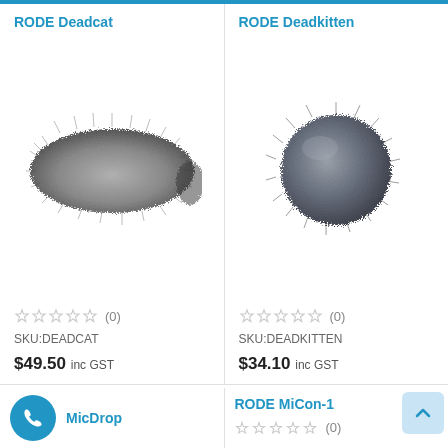RODE Deadcat
[Figure (photo): RODE Deadcat windshield — fluffy grey rectangular fur wind cover for microphone]
☆☆☆☆☆ (0)
SKU: DEADCAT
$49.50 inc GST
RODE Deadkitten
[Figure (photo): RODE Deadkitten windshield — fluffy round grey fur wind cover for small microphone]
☆☆☆☆☆ (0)
SKU: DEADKITTEN
$34.10 inc GST
MicDrop
RODE MiCon-1
☆☆☆☆☆ (0)